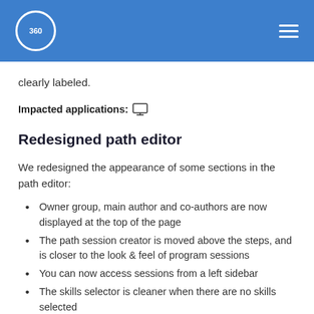360
clearly labeled.
Impacted applications: [monitor icon]
Redesigned path editor
We redesigned the appearance of some sections in the path editor:
Owner group, main author and co-authors are now displayed at the top of the page
The path session creator is moved above the steps, and is closer to the look & feel of program sessions
You can now access sessions from a left sidebar
The skills selector is cleaner when there are no skills selected